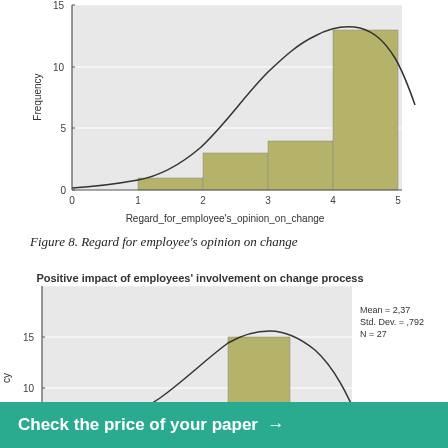[Figure (histogram): ]
Figure 8. Regard for employee's opinion on change
[Figure (histogram): Histogram partially visible, showing tall bar at category 3-4 with value ~15, normal curve overlay, Mean=2.37, Std. Dev.=.792, N=27]
Check the price of your paper →